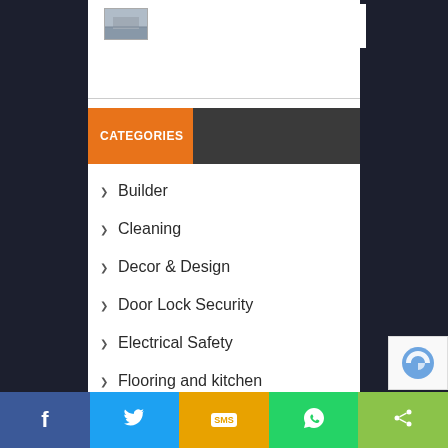[Figure (photo): Small thumbnail image, appears to be a building or bridge, gray/blue tones]
CATEGORIES
Builder
Cleaning
Decor & Design
Door Lock Security
Electrical Safety
Flooring and kitchen
Furniture
Garage Door
Facebook  Twitter  SMS  WhatsApp  Share